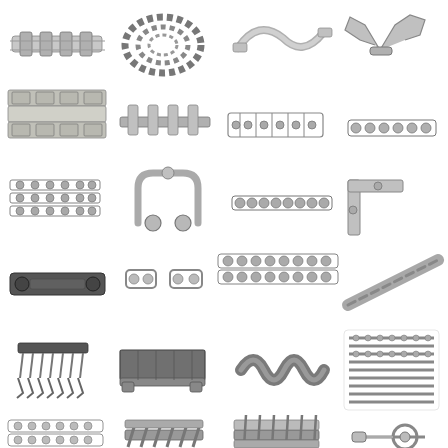[Figure (illustration): Grid of 20+ industrial chain and conveyor components including roller chains, conveyor chains with attachments, chain links, specialty chains, and chain hardware components shown as product photographs on white background]